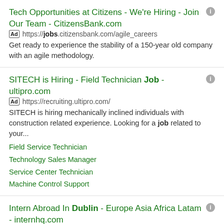Tech Opportunities at Citizens - We're Hiring - Join Our Team - CitizensBank.com
Ad https://jobs.citizensbank.com/agile_careers
Get ready to experience the stability of a 150-year old company with an agile methodology.
SITECH is Hiring - Field Technician Job - ultipro.com
Ad https://recruiting.ultipro.com/
SITECH is hiring mechanically inclined individuals with construction related experience. Looking for a job related to your...
Field Service Technician
Technology Sales Manager
Service Center Technician
Machine Control Support
Intern Abroad In Dublin - Europe Asia Africa Latam - internhq.com
Ad https://www.internhq.com/internshi...
Intern Abroad HQ® has the largest variety of